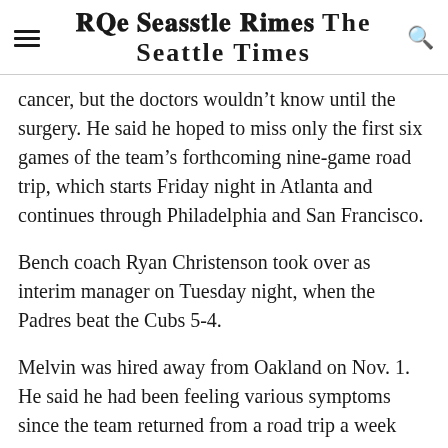The Seattle Times
cancer, but the doctors wouldn't know until the surgery. He said he hoped to miss only the first six games of the team's forthcoming nine-game road trip, which starts Friday night in Atlanta and continues through Philadelphia and San Francisco.
Bench coach Ryan Christenson took over as interim manager on Tuesday night, when the Padres beat the Cubs 5-4.
Melvin was hired away from Oakland on Nov. 1. He said he had been feeling various symptoms since the team returned from a road trip a week ago.
Christenson also filled in for Melvin last Thursday night and was set for Monday night, but then Melvin felt well enough to be in the dugout. The Padres said then that Melvin had a gastrointestinal issue…